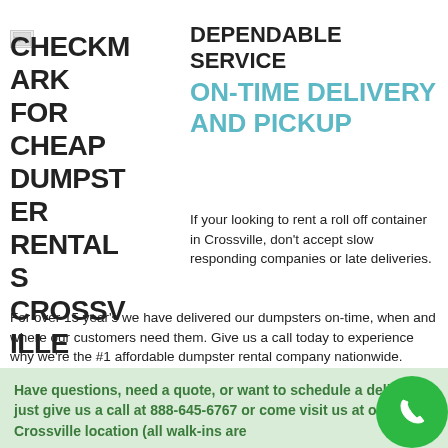[Figure (other): Small broken/placeholder image icon in top left corner]
DEPENDABLE SERVICE
ON-TIME DELIVERY AND PICKUP
CHECKMARK FOR CHEAP DUMPSTER RENTALS CROSSVILLE
If your looking to rent a roll off container in Crossville, don't accept slow responding companies or late deliveries. For over 15 years we have delivered our dumpsters on-time, when and where our customers need them. Give us a call today to experience why we're the #1 affordable dumpster rental company nationwide.
Have questions, need a quote, or want to schedule a delivery – just give us a call at 888-645-6767 or come visit us at our Crossville location (all walk-ins are